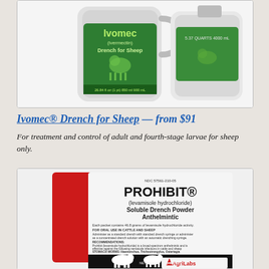[Figure (photo): Photo of Ivomec Drench for Sheep product containers — two white jugs with green labels showing the Ivomec (ivermectin) Drench for Sheep branding and sheep icon.]
Ivomec® Drench for Sheep — from $91
For treatment and control of adult and fourth-stage larvae for sheep only.
[Figure (photo): Photo of PROHIBIT (levamisole hydrochloride) Soluble Drench Powder Anthelmintic packet with red and white packaging, AgriLabs branding, showing cattle and sheep silhouettes. NDC 57561-210-05. Net weight: 52 g (1.8 oz.).]